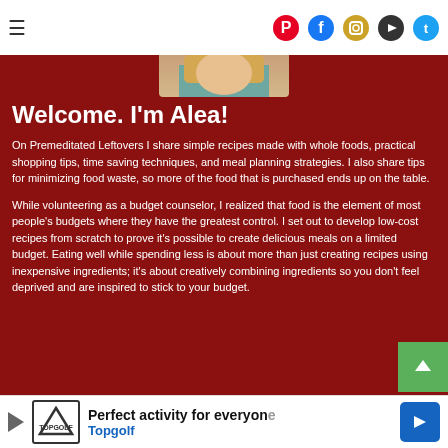Navigation bar with hamburger menu and social icons (Pinterest, Facebook, Instagram, YouTube, Twitter)
Welcome. I'm Alea!
On Premeditated Leftovers I share simple recipes made with whole foods, practical shopping tips, time saving techniques, and meal planning strategies. I also share tips for minimizing food waste, so more of the food that is purchased ends up on the table.
While volunteering as a budget counselor, I realized that food is the element of most people's budgets where they have the greatest control. I set out to develop low-cost recipes from scratch to prove it's possible to create delicious meals on a limited budget. Eating well while spending less is about more than just creating recipes using inexpensive ingredients; it's about creatively combining ingredients so you don't feel deprived and are inspired to stick to your budget.
[Figure (logo): Premeditated Leftovers logo with vegetables graphic and stylized text]
[Figure (infographic): Advertisement banner: Perfect activity for everyone - Topgolf, with play icon and blue arrow]